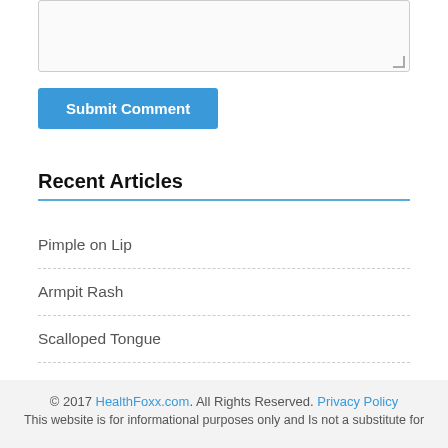[Figure (other): Textarea input box for submitting a comment]
Submit Comment
Recent Articles
Pimple on Lip
Armpit Rash
Scalloped Tongue
Echinacea Side Effects
© 2017 HealthFoxx.com. All Rights Reserved. Privacy Policy
This website is for informational purposes only and Is not a substitute for